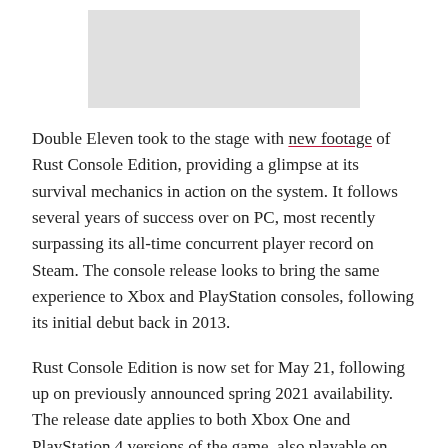[Figure (photo): Gray placeholder image area at top of page]
Double Eleven took to the stage with new footage of Rust Console Edition, providing a glimpse at its survival mechanics in action on the system. It follows several years of success over on PC, most recently surpassing its all-time concurrent player record on Steam. The console release looks to bring the same experience to Xbox and PlayStation consoles, following its initial debut back in 2013.
Rust Console Edition is now set for May 21, following up on previously announced spring 2021 availability. The release date applies to both Xbox One and PlayStation 4 versions of the game, also playable on Xbox Series X|S and PlayStation 5…